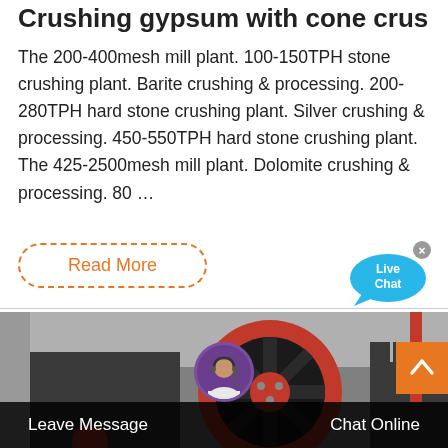Crushing gypsum with cone crusher vi...
The 200-400mesh mill plant. 100-150TPH stone crushing plant. Barite crushing & processing. 200-280TPH hard stone crushing plant. Silver crushing & processing. 450-550TPH hard stone crushing plant. The 425-2500mesh mill plant. Dolomite crushing & processing. 80 …
Read More
[Figure (screenshot): Live Chat bubble icon in blue]
[Figure (photo): Industrial cone crusher machine with large red flywheel in a factory setting]
Leave Message
Chat Online